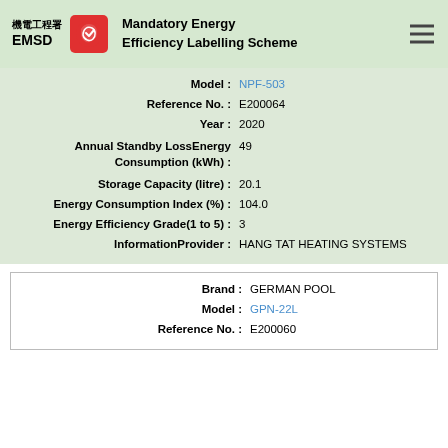EMSD Mandatory Energy Efficiency Labelling Scheme
Model : NPF-503
Reference No. : E200064
Year : 2020
Annual Standby LossEnergy Consumption (kWh) : 49
Storage Capacity (litre) : 20.1
Energy Consumption Index (%) : 104.0
Energy Efficiency Grade(1 to 5) : 3
InformationProvider : HANG TAT HEATING SYSTEMS
Brand : GERMAN POOL
Model : GPN-22L
Reference No. : E200060